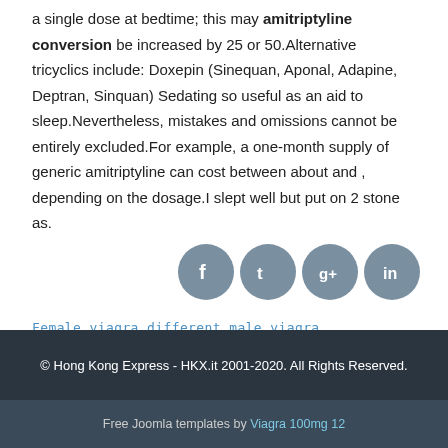a single dose at bedtime; this may amitriptyline conversion be increased by 25 or 50.Alternative tricyclics include: Doxepin (Sinequan, Aponal, Adapine, Deptran, Sinquan) Sedating so useful as an aid to sleep.Nevertheless, mistakes and omissions cannot be entirely excluded.For example, a one-month supply of generic amitriptyline can cost between about and , depending on the dosage.I slept well but put on 2 stone as.
[Figure (other): Four circular social media share buttons: Facebook, Twitter, Google+, LinkedIn]
Female viagra different male viagra
© Hong Kong Express - HKX.it 2001-2020. All Rights Reserved.
Free Joomla templates by Viagra 100mg 12